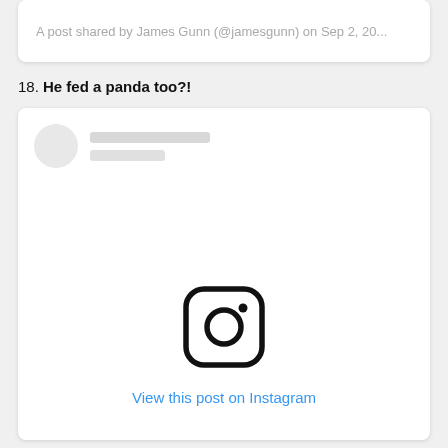A post shared by James Gunn (@jamesgunn) on Sep 2, 20...
18. He fed a panda too?!
[Figure (screenshot): Instagram embed placeholder showing profile avatar placeholder, two grey content lines, Instagram camera logo icon, and a 'View this post on Instagram' link in blue.]